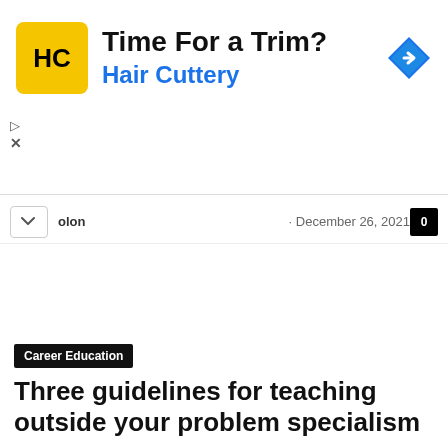[Figure (other): Hair Cuttery advertisement banner with yellow square logo showing 'HC', headline 'Time For a Trim?', subtext 'Hair Cuttery' in blue, and a blue navigation diamond icon on the right.]
olon · December 26, 2021
Career Education
Three guidelines for teaching outside your problem specialism
Elsa Colon · December 26, 2021